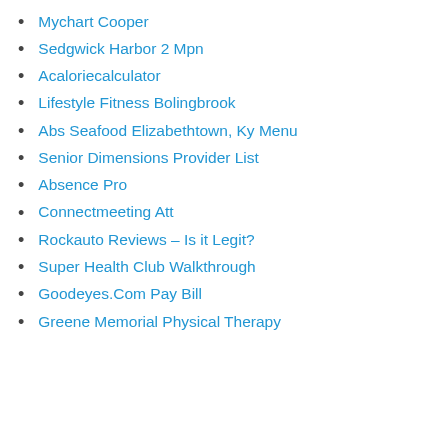Mychart Cooper
Sedgwick Harbor 2 Mpn
Acaloriecalculator
Lifestyle Fitness Bolingbrook
Abs Seafood Elizabethtown, Ky Menu
Senior Dimensions Provider List
Absence Pro
Connectmeeting Att
Rockauto Reviews – Is it Legit?
Super Health Club Walkthrough
Goodeyes.Com Pay Bill
Greene Memorial Physical Therapy